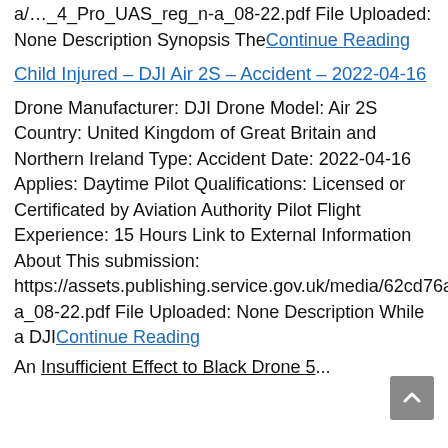a/…_4_Pro_UAS_reg_n-a_08-22.pdf File Uploaded: None Description Synopsis TheContinue Reading
Child Injured – DJI Air 2S – Accident – 2022-04-16
Drone Manufacturer: DJI Drone Model: Air 2S Country: United Kingdom of Great Britain and Northern Ireland Type: Accident Date: 2022-04-16 Applies: Daytime Pilot Qualifications: Licensed or Certificated by Aviation Authority Pilot Flight Experience: 15 Hours Link to External Information About This submission: https://assets.publishing.service.gov.uk/media/62cd76ad8fa8f54e81e2ceee/DJI_Air_2S_UAS_reg_n-a_08-22.pdf File Uploaded: None Description While a DJIContinue Reading
An Insufficient Effect to Black Drone 5...